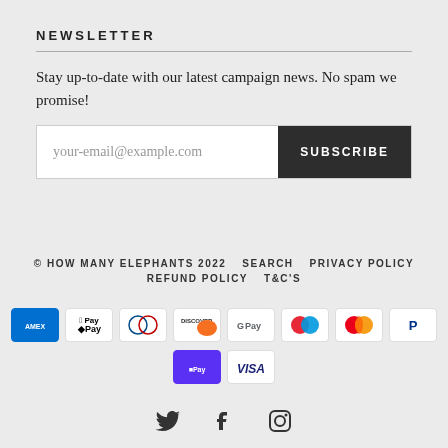NEWSLETTER
Stay up-to-date with our latest campaign news. No spam we promise!
your-email@example.com  [SUBSCRIBE button]
© HOW MANY ELEPHANTS 2022   SEARCH   PRIVACY POLICY   REFUND POLICY   T&C'S
[Figure (other): Payment method icons: American Express, Apple Pay, Diners Club, Discover, Google Pay, Maestro, Mastercard, PayPal, Shop Pay, Visa]
[Figure (other): Social media icons: Twitter, Facebook, Instagram]